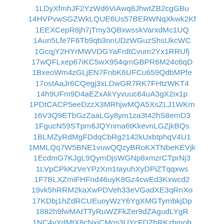1LDyXfmhJF2YzWd6ViAwq8JhwtZB2cgGBu
14HVPvwSGZWkLQUE6Us57BERWNqXkwk2Kf
1EEXCepR8jh7jTmy3QBxwsskVarxdMc1UQ
1Aun5Lfe7F6Tb9qb3nnUDzWGuzShsUkcWC
1GcqjY2HYrMWVDGYaFrdtCvum2Yx1RRUfj
17wQFLxep67iKC5wX954qmGBPR6M24c6qD
1BxeoWm4zGLjEN7FnbK6UFCu659QdbMPfe
17ostAaJr6CQegj3xLDwGR7RK7FHtzWKT4
14h9UFm9D4aEZxAkYyvuuc64uA3gX2ix1p
1PDtCACP5eeDzzX3MRhjwMQA5XsZLJ1WKm
16V3Q9ETbGzZaaLGy8ym1za3t42hS8emD3
1FgucN59STpm6JQYnma6tKkevnLGZjkBQs
1BLMZyRdMgFDdqCbRg2142kUxbtphqV4U1
1MMLQq7W5BNE1vuwQQzyBRoKXTNbeKEVjk
1EcdmG7KJgL9QymDjsWGNp8xmzrCTprNj3
1LVpCPkKzVeYPzXm1tayuhXyDPiZTqqxws
1F7BLXZmiFHFnd46uyK8Gz4cwEd3Kxwcd2
19vk5hRRM2kaXwPDVeh33eVGadXE3qRnXo
17KDbj1hZdRCUEuoyWzY6YgXMGTymbkjDp
1882h9fwMAtTTyRuWZFkZer9dZAgudLYgR
1NC4vYdMtX8cNxjCMos3UYcFDZhRKzbmob
1A3j7pYZX7YnZfxnQupoJgZH8RL4AX4mG7